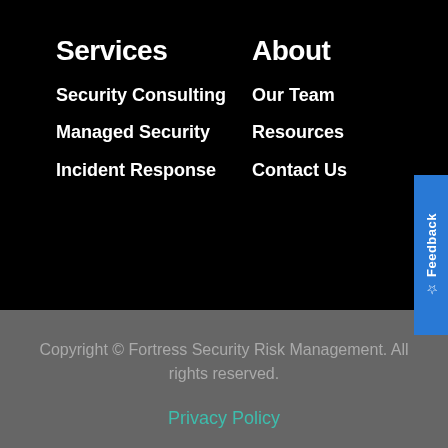Services
Security Consulting
Managed Security
Incident Response
About
Our Team
Resources
Contact Us
Copyright © Fortress Security Risk Management. All rights reserved.
Privacy Policy